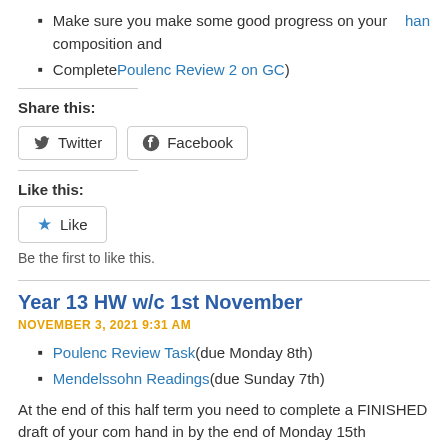Make sure you make some good progress on your composition and han
Complete Poulenc Review 2 on GC)
Share this:
[Figure (other): Twitter and Facebook share buttons]
Like this:
[Figure (other): Like button widget with star icon]
Be the first to like this.
Year 13 HW w/c 1st November
NOVEMBER 3, 2021 9:31 AM
Poulenc Review Task (due Monday 8th)
Mendelssohn Readings (due Sunday 7th)
At the end of this half term you need to complete a FINISHED draft of your com hand in by the end of Monday 15th November. Hand in Sibelius file and update
Share this: